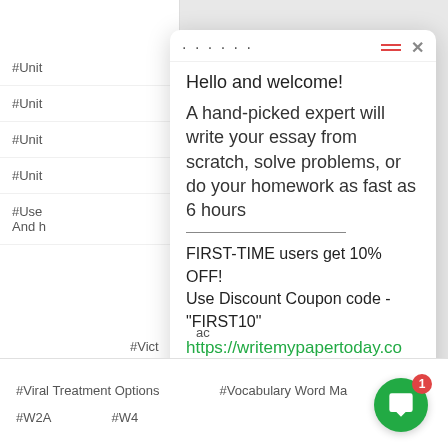#Unit
#Unit
#Unit
#Unit
#Use
And h
Hello and welcome!
A hand-picked expert will write your essay from scratch, solve problems, or do your homework as fast as 6 hours
FIRST-TIME users get 10% OFF!
Use Discount Coupon code - "FIRST10"
https://writemypapertoday.com/orders/stud/new
Type here and press enter..
#ac
#Vict
#Viral Treatment Options
#Vocabulary Word Ma
#W2A
#W4